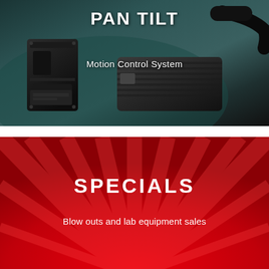[Figure (photo): Pan tilt motion control system hardware device — a motorized pan-tilt unit with cables and controller box on a teal/grey background]
PAN TILT
Motion Control System
[Figure (illustration): Red background with sunburst ray pattern radiating from the bottom center]
SPECIALS
Blow outs and lab equipment sales